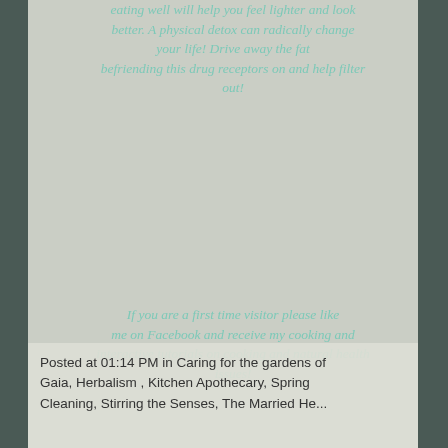eating well will help you feel lighter and look better. A physical detox can radically change your life! Drive away the fat befriending this drug receptors on and help filter out!
If you are a first time visitor please like me on Facebook and receive my cooking and interactive tutorials on cooking and natural health issues!
For more information on my 6 month Turning the Corner detox to change catechism program, message me www.herchoice.net/naturaldetoxplan
Posted at 01:14 PM in Caring for the gardens of Gaia, Herbalism , Kitchen Apothecary, Spring Cleaning, Stirring the Senses, The Married Herbalust